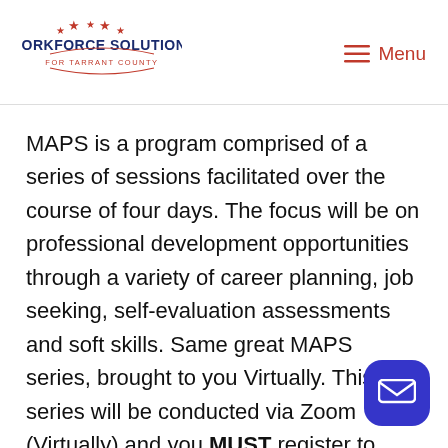[Figure (logo): Workforce Solutions for Tarrant County logo with stars]
Menu
MAPS is a program comprised of a series of sessions facilitated over the course of four days. The focus will be on professional development opportunities through a variety of career planning, job seeking, self-evaluation assessments and soft skills. Same great MAPS series, brought to you Virtually. This series will be conducted via Zoom (Virtually) and you MUST register to attend. Register using the button below. Please check